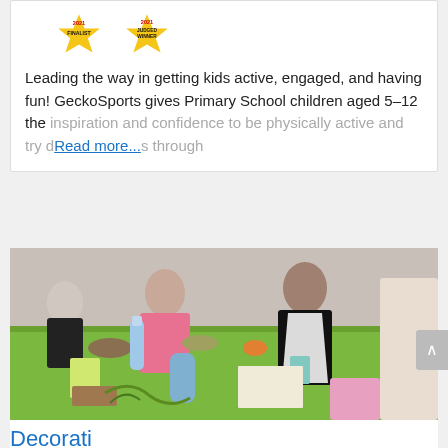[Figure (illustration): Two award badge icons: '2021 FINALIST' star and '2021 JUDGED WINNER' star, gold star shapes with red year text and black label text]
Leading the way in getting kids active, engaged, and having fun! GeckoSports gives Primary School children aged 5-12 the inspiration and confidence to be physically active and try d Read more... s through
[Figure (photo): Children seated at a table with a green tablecloth doing a craft or food activity, wearing aprons, with food items and craft materials on the table]
Decorati